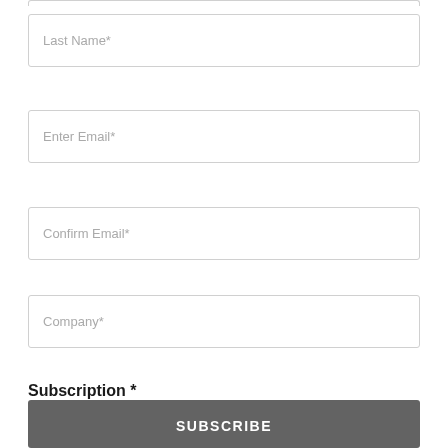[Figure (screenshot): Partial top border of a form field at the very top of the page]
Last Name*
Enter Email*
Confirm Email*
Company*
Subscription *
Daily
Weekly
SUBSCRIBE